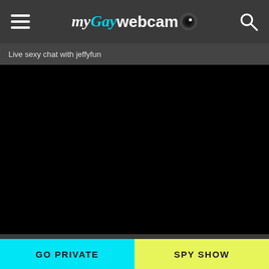myGaywebcam
Live sexy chat with jeffyfun
[Figure (screenshot): Black video stream area showing no content]
GO PRIVATE
SPY SHOW